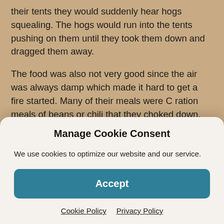their tents they would suddenly hear hogs squealing. The hogs would run into the tents pushing on them until they took them down and dragged them away.
The food was also not very good since the air was always damp which made it hard to get a fire started. Many of their meals were C ration meals of beans or chili that they choked down. Washing clothes was done when the men had a chance. They did this by finding a creek, looking for alligators, and if there were none, taking a bar of soap and scrubbing whatever they were washing. Clothes were
Manage Cookie Consent
We use cookies to optimize our website and our service.
Accept
Cookie Policy   Privacy Policy